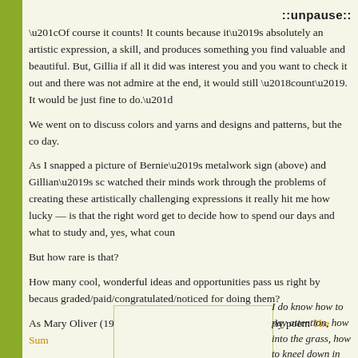::unpause::
“Of course it counts! It counts because it’s absolutely an artistic expression, a skill, and produces something you find valuable and beautiful. But, Gillia if all it did was interest you and you want to check it out and there was not admire at the end, it would still ‘count’. It would be just fine to do.”
We went on to discuss colors and yarns and designs and patterns, but the co day.
As I snapped a picture of Bernie’s metalwork sign (above) and Gillian’s sc watched their minds work through the problems of creating these artistically challenging expressions it really hit me how lucky — is that the right word get to decide how to spend our days and what to study and, yes, what coun
But how rare is that?
How many cool, wonderful ideas and opportunities pass us right by becaus graded/paid/congratulated/noticed for doing them?
As Mary Oliver (1992) asks in this excerpt from her lovely poem The Sum
[Figure (illustration): A bordered box/frame on the left side, empty inside, with a yellow-green border outline]
I do know how to pay attention, how into the grass, how to kneel down in how to be idle and blessed, how to st